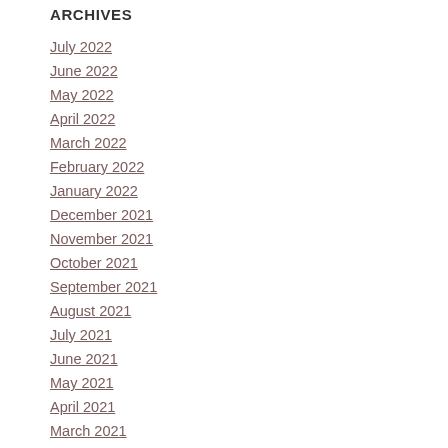ARCHIVES
July 2022
June 2022
May 2022
April 2022
March 2022
February 2022
January 2022
December 2021
November 2021
October 2021
September 2021
August 2021
July 2021
June 2021
May 2021
April 2021
March 2021